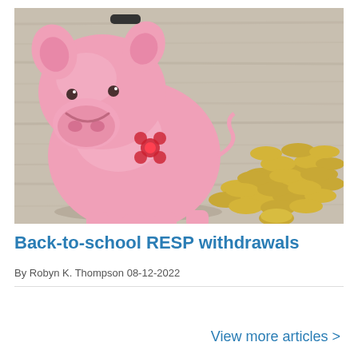[Figure (photo): Pink ceramic piggy bank with red flower decorations sitting on a light wood surface next to a large pile of gold coins spread in a heart-like arrangement]
Back-to-school RESP withdrawals
By Robyn K. Thompson 08-12-2022
View more articles >